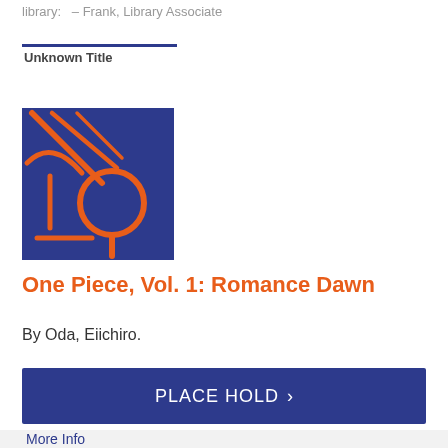library:   – Frank, Library Associate
Unknown Title
[Figure (illustration): Book cover for One Piece Vol. 1: Romance Dawn — blue square background with orange stylized geometric/abstract design suggesting Japanese manga characters and shapes.]
One Piece, Vol. 1: Romance Dawn
By Oda, Eiichiro.
PLACE HOLD >
More Info